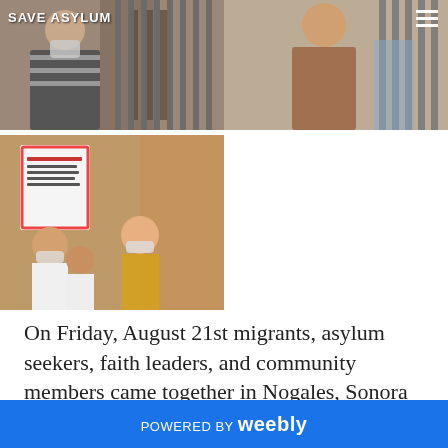[Figure (photo): Woman wearing striped shirt and face mask looking through metal bars/gate with text overlay reading SAVE ASYLUM]
[Figure (photo): Person in brown and white shirt standing at metal bars/gate, with hamburger menu icon in corner]
[Figure (photo): Group of people including a child holding a sign with colorful border, some wearing face masks, gathered together]
On Friday, August 21st migrants, asylum seekers, faith leaders, and community members came together in Nogales, Sonora to accompany an asylum seeker, Elena (pseudonym to protect her
POWERED BY weebly